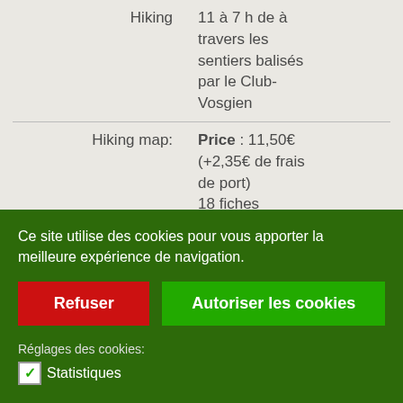| Hiking | 11 a 7 h de à travers les sentiers balisés par le Club-Vosgien |
| Hiking map: | Price : 11,50€ (+2,35€ de frais de port)
18 fiches individuelles |
Ce site utilise des cookies pour vous apporter la meilleure expérience de navigation.
Refuser
Autoriser les cookies
Réglages des cookies:
Statistiques